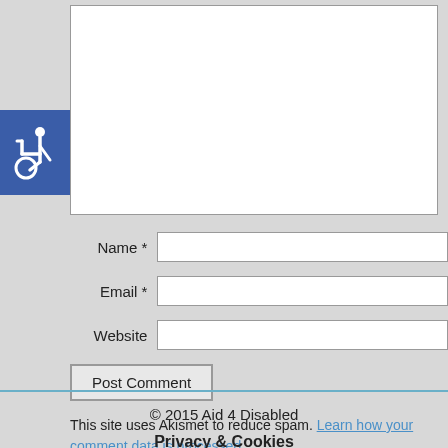[Figure (other): Wheelchair accessibility icon — white wheelchair symbol on a blue square background]
Name *
Email *
Website
Post Comment
This site uses Akismet to reduce spam. Learn how your comment data is processed.
Tags:
Independence   Mobility   Quality of Life
© 2015 Aid 4 Disabled
Privacy & Cookies